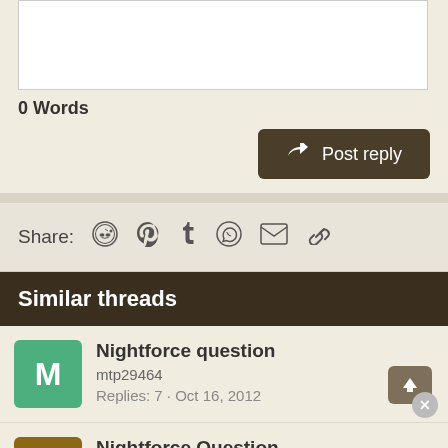0 Words
Post reply
Share:
Similar threads
Nightforce question
mtp29464
Replies: 7 · Oct 16, 2012
Nightforce Question
chain
Replies: 13 · Jan 24, 2008
Nightforce Question